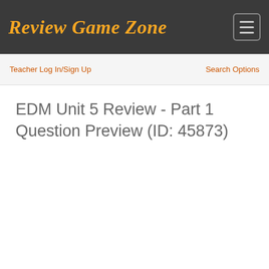Review Game Zone
Teacher Log In/Sign Up
Search Options
EDM Unit 5 Review - Part 1 Question Preview (ID: 45873)